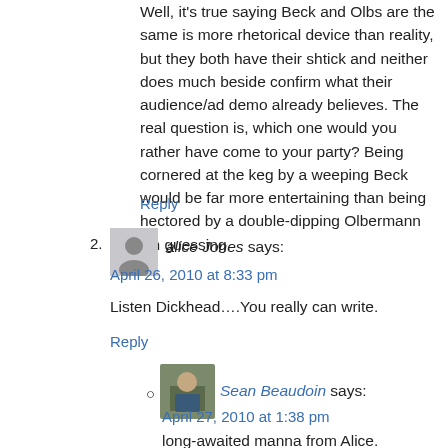Well, it's true saying Beck and Olbs are the same is more rhetorical device than reality, but they both have their shtick and neither does much beside confirm what their audience/ad demo already believes. The real question is, which one would you rather have come to your party? Being cornered at the keg by a weeping Beck would be far more entertaining than being hectored by a double-dipping Olbermann I'm guessing.
Reply
alice Jones says:
April 26, 2010 at 8:33 pm
Listen Dickhead….You really can write.
Reply
Sean Beaudoin says:
April 27, 2010 at 1:38 pm
long-awaited manna from Alice.